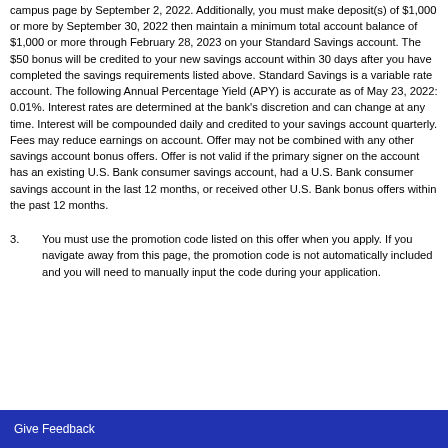campus page by September 2, 2022. Additionally, you must make deposit(s) of $1,000 or more by September 30, 2022 then maintain a minimum total account balance of $1,000 or more through February 28, 2023 on your Standard Savings account. The $50 bonus will be credited to your new savings account within 30 days after you have completed the savings requirements listed above. Standard Savings is a variable rate account. The following Annual Percentage Yield (APY) is accurate as of May 23, 2022: 0.01%. Interest rates are determined at the bank's discretion and can change at any time. Interest will be compounded daily and credited to your savings account quarterly. Fees may reduce earnings on account. Offer may not be combined with any other savings account bonus offers. Offer is not valid if the primary signer on the account has an existing U.S. Bank consumer savings account, had a U.S. Bank consumer savings account in the last 12 months, or received other U.S. Bank bonus offers within the past 12 months.
3. You must use the promotion code listed on this offer when you apply. If you navigate away from this page, the promotion code is not automatically included and you will need to manually input the code during your application.
Give Feedback